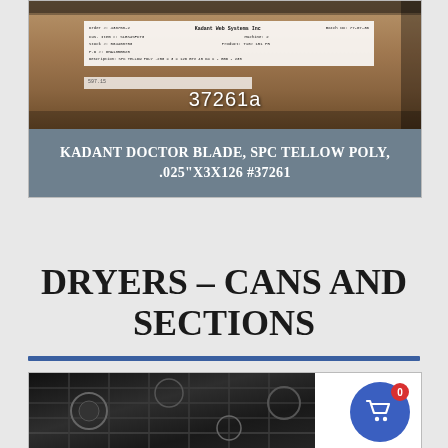[Figure (photo): Photo of a cardboard box with a label showing Kadant Web Systems Inc details, overlaid with text '37261a']
KADANT DOCTOR BLADE, SPC TELLOW POLY, .025"X3X126 #37261
DRYERS – CANS AND SECTIONS
[Figure (photo): Photo of industrial dryer cans and sections in a dark storage area]
[Figure (other): Shopping cart icon with badge showing 0]